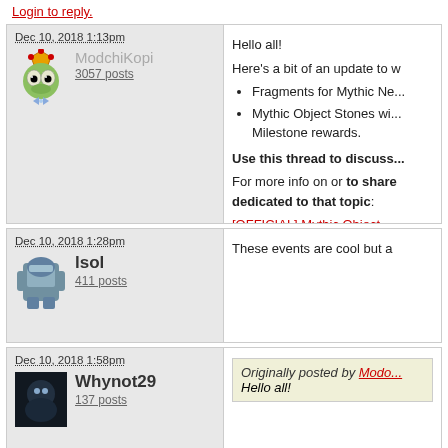Login to reply.
Dec 10, 2018 1:13pm
[Figure (illustration): ModchiKopi avatar - green frog character with crown]
ModchiKopi
3057 posts
Hello all!
Here's a bit of an update to what's changing:
• Fragments for Mythic Ne...
• Mythic Object Stones wi... Milestone rewards.
Use this thread to discuss...
For more info on or to share dedicated to that topic:
[OFFICIAL] Mythic Object ...
Dec 10, 2018 1:28pm
[Figure (illustration): lsol avatar - blue/gray armored character]
lsol
411 posts
These events are cool but a...
Dec 10, 2018 1:58pm
[Figure (illustration): Whynot29 avatar - dark character]
Whynot29
137 posts
Originally posted by Modo...
Hello all!